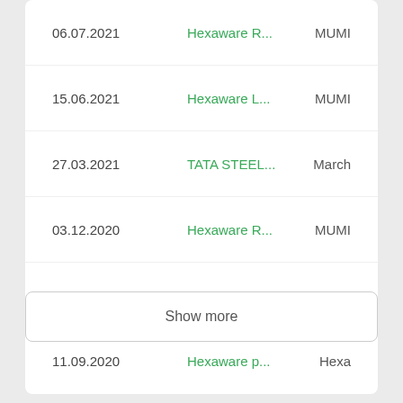| Date | Name | Exchange |
| --- | --- | --- |
| 06.07.2021 | Hexaware R... | MUMI |
| 15.06.2021 | Hexaware L... | MUMI |
| 27.03.2021 | TATA STEEL... | March |
| 03.12.2020 | Hexaware R... | MUMI |
| 14.09.2020 | Hexaware I... | MUMI |
| 11.09.2020 | Hexaware p... | Hexa |
Show more